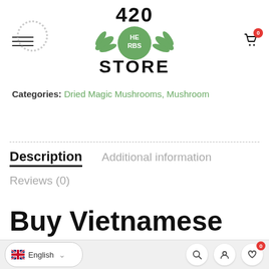[Figure (logo): 420 Herbs Store logo with green leaf circle and bold text]
Categories: Dried Magic Mushrooms, Mushroom
Description | Additional information | Reviews (0)
Buy Vietnamese
English — search, account, wishlist (0) icons